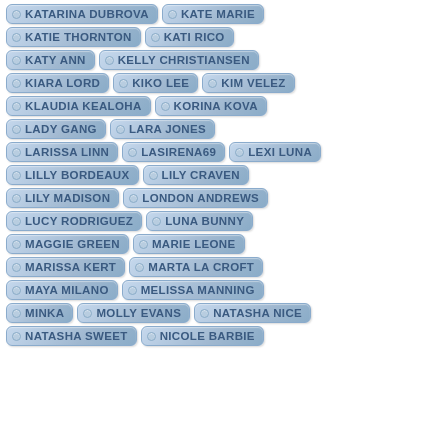KATARINA DUBROVA
KATE MARIE
KATIE THORNTON
KATI RICO
KATY ANN
KELLY CHRISTIANSEN
KIARA LORD
KIKO LEE
KIM VELEZ
KLAUDIA KEALOHA
KORINA KOVA
LADY GANG
LARA JONES
LARISSA LINN
LASIRENA69
LEXI LUNA
LILLY BORDEAUX
LILY CRAVEN
LILY MADISON
LONDON ANDREWS
LUCY RODRIGUEZ
LUNA BUNNY
MAGGIE GREEN
MARIE LEONE
MARISSA KERT
MARTA LA CROFT
MAYA MILANO
MELISSA MANNING
MINKA
MOLLY EVANS
NATASHA NICE
NATASHA SWEET
NICOLE BARBIE